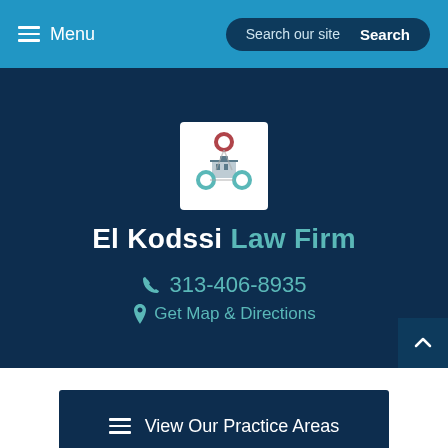Menu | Search our site | Search
[Figure (logo): El Kodssi Law Firm logo: circular network diagram with courthouse icon in center, dark teal and red circles connected]
El Kodssi Law Firm
313-406-8935
Get Map & Directions
View Our Practice Areas
A Dedicated Dearborn Attorney